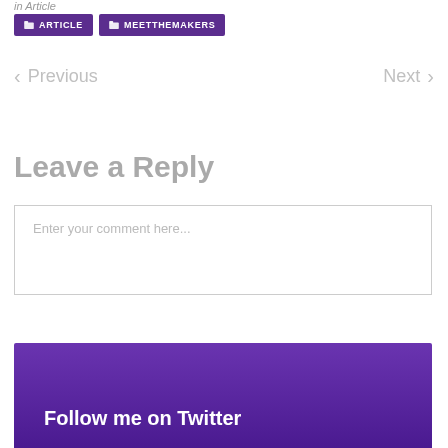in Article
ARTICLE
MEETTHEMAKERS
< Previous
Next >
Leave a Reply
Enter your comment here...
Follow me on Twitter